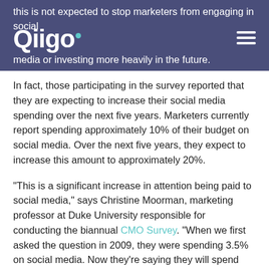this is not expected to stop marketers from engaging in social media or investing more heavily in the future.
In fact, those participating in the survey reported that they are expecting to increase their social media spending over the next five years. Marketers currently report spending approximately 10% of their budget on social media. Over the next five years, they expect to increase this amount to approximately 20%.
“This is a significant increase in attention being paid to social media,” says Christine Moorman, marketing professor at Duke University responsible for conducting the biannual CMO Survey. “When we first asked the question in 2009, they were spending 3.5% on social media. Now they’re saying they will spend 11.5% this year and 21.6% in five years.”
As marketers look at social media strategies, they view the following metrics as most important: